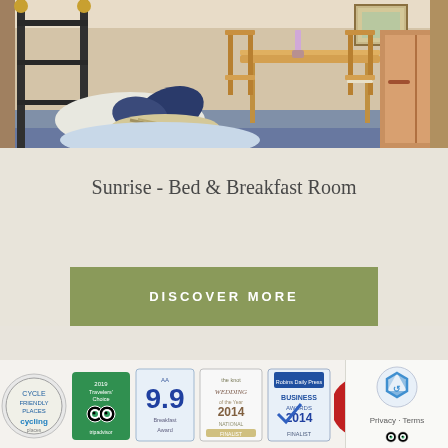[Figure (photo): Bedroom photo showing a black iron bed frame with brass finials and white/blue pillows on the left, a small wooden dining table with two folding chairs in the middle, a framed picture on the wall, and a wooden wardrobe partially visible on the right. Blue carpet on the floor.]
Sunrise - Bed & Breakfast Room
DISCOVER MORE
[Figure (infographic): Row of award badges and logos: Cycle Friendly Places cycling award (circular badge), TripAdvisor Travelers Choice with owl logo, award badge showing 9.9 rating, Wedding of the Year 2014 National logo, Business Awards 2014 Finalist badge (Robins Daily Press), red trophy award badge, TripAdvisor owl logo. On the far right a Google reCAPTCHA widget with Privacy and Terms text.]